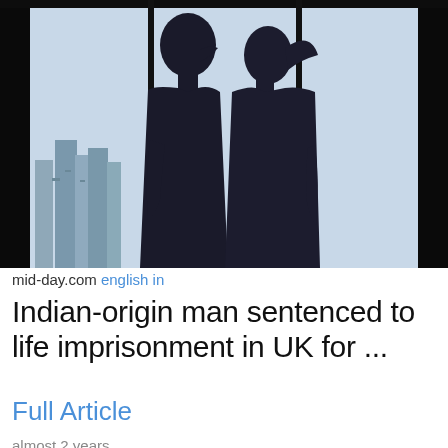[Figure (photo): Silhouette of a couple facing each other closely, almost kissing, against a bright window with a city skyline in the background. Dark frame borders on left and right.]
mid-day.com english in
Indian-origin man sentenced to life imprisonment in UK for ...
Full Article
almost 2 years
[Figure (photo): Partial view of a person wearing a graduation cap (mortarboard), cropped at the bottom of the page.]